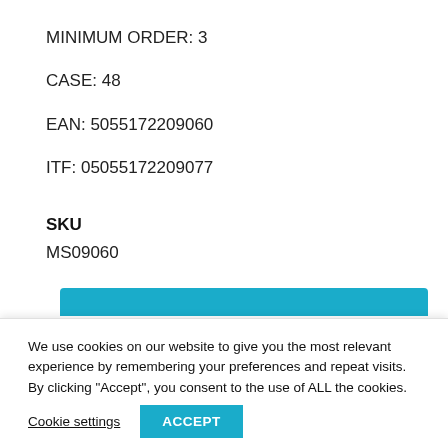MINIMUM ORDER: 3
CASE: 48
EAN: 5055172209060
ITF: 05055172209077
SKU
MS09060
[Figure (other): Teal/cyan decorative button or bar element at top of a section]
We use cookies on our website to give you the most relevant experience by remembering your preferences and repeat visits. By clicking “Accept”, you consent to the use of ALL the cookies.
Cookie settings
ACCEPT